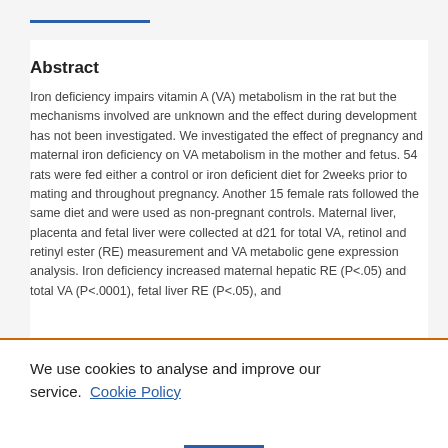Abstract
Iron deficiency impairs vitamin A (VA) metabolism in the rat but the mechanisms involved are unknown and the effect during development has not been investigated. We investigated the effect of pregnancy and maternal iron deficiency on VA metabolism in the mother and fetus. 54 rats were fed either a control or iron deficient diet for 2weeks prior to mating and throughout pregnancy. Another 15 female rats followed the same diet and were used as non-pregnant controls. Maternal liver, placenta and fetal liver were collected at d21 for total VA, retinol and retinyl ester (RE) measurement and VA metabolic gene expression analysis. Iron deficiency increased maternal hepatic RE (P<.05) and total VA (P<.0001), fetal liver RE (P<.05), and
We use cookies to analyse and improve our service. Cookie Policy